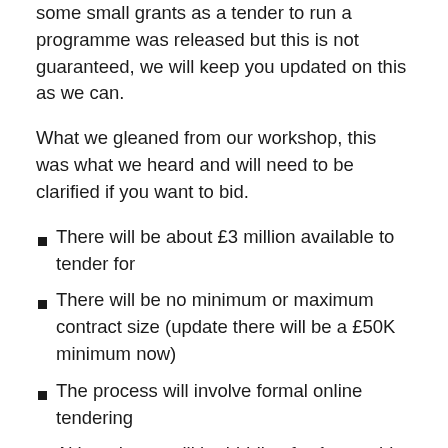some small grants as a tender to run a programme was released but this is not guaranteed, we will keep you updated on this as we can.
What we gleaned from our workshop, this was what we heard and will need to be clarified if you want to bid.
There will be about £3 million available to tender for
There will be no minimum or maximum contract size (update there will be a £50K minimum now)
The process will involve formal online tendering
Although you will be bidding for 1 year this will decide the delivery partners for the next 3 years. If you don't get in now there will not be another window for at least 3 years.
There will be an emphasis on accredited training, but if what you do is pre accreditation level or you use